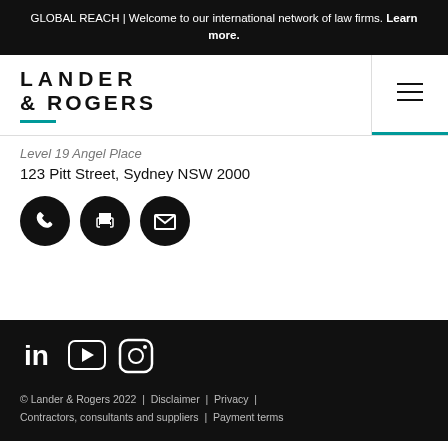GLOBAL REACH | Welcome to our international network of law firms. Learn more.
[Figure (logo): Lander & Rogers law firm logo with teal underline accent]
Level 19 Angel Place
123 Pitt Street, Sydney NSW 2000
[Figure (infographic): Three black circular icons: phone, print, envelope/mail]
[Figure (infographic): Social media icons: LinkedIn, YouTube, Instagram on black background]
© Lander & Rogers 2022  |  Disclaimer  |  Privacy  |  Contractors, consultants and suppliers  |  Payment terms